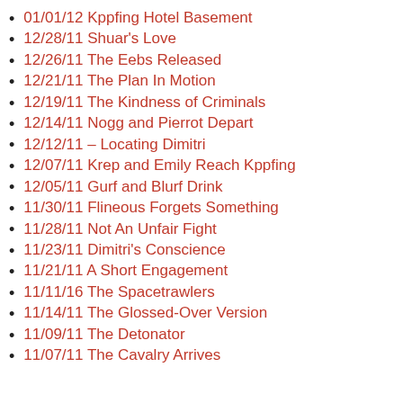01/01/12 Kppfing Hotel Basement
12/28/11 Shuar's Love
12/26/11 The Eebs Released
12/21/11 The Plan In Motion
12/19/11 The Kindness of Criminals
12/14/11 Nogg and Pierrot Depart
12/12/11 – Locating Dimitri
12/07/11 Krep and Emily Reach Kppfing
12/05/11 Gurf and Blurf Drink
11/30/11 Flineous Forgets Something
11/28/11 Not An Unfair Fight
11/23/11 Dimitri's Conscience
11/21/11 A Short Engagement
11/11/16 The Spacetrawlers
11/14/11 The Glossed-Over Version
11/09/11 The Detonator
11/07/11 The Cavalry Arrives